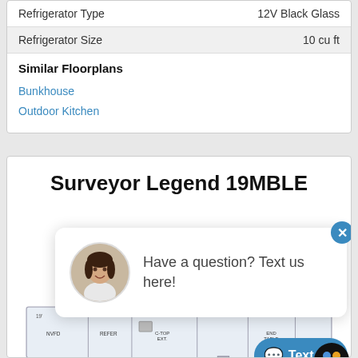|  |  |
| --- | --- |
| Refrigerator Type | 12V Black Glass |
| Refrigerator Size | 10 cu ft |
Similar Floorplans
Bunkhouse
Outdoor Kitchen
Surveyor Legend 19MBLE
[Figure (illustration): Floorplan diagram of Surveyor Legend 19MBLE RV with labeled areas including NVFD, REFER, C-TOP EXT., END TABLE, 14' AWNING, TV CNAB, OUTSIDE KITCHEN, STORAGE units, and a chat overlay showing 'Have a question? Text us here!' with a female avatar and a 'Text us!' button.]